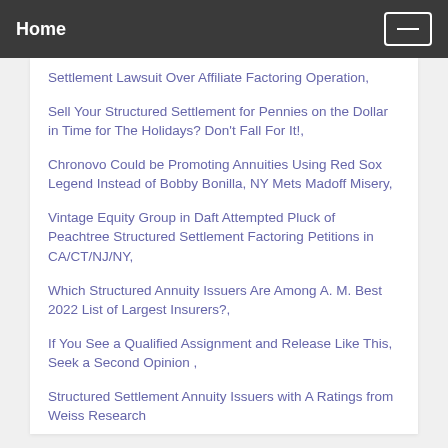Home
Settlement Lawsuit Over Affiliate Factoring Operation,
Sell Your Structured Settlement for Pennies on the Dollar in Time for The Holidays? Don't Fall For It!,
Chronovo Could be Promoting Annuities Using Red Sox Legend Instead of Bobby Bonilla, NY Mets Madoff Misery,
Vintage Equity Group in Daft Attempted Pluck of Peachtree Structured Settlement Factoring Petitions in CA/CT/NJ/NY,
Which Structured Annuity Issuers Are Among A. M. Best 2022 List of Largest Insurers?,
If You See a Qualified Assignment and Release Like This, Seek a Second Opinion ,
Structured Settlement Annuity Issuers with A Ratings from Weiss Research